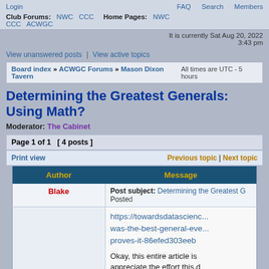Login | FAQ  Search  Members
Club Forums: NWC  CCC  Home Pages: NWC  CCC  ACWGC
It is currently Sat Aug 20, 2022 3:43 pm
View unanswered posts | View active topics
Board index » ACWGC Forums » Mason Dixon Tavern    All times are UTC - 5 hours
Determining the Greatest Generals: Using Math?
Moderator: The Cabinet
Page 1 of 1  [ 4 posts ]
Print view    Previous topic | Next topic
| Author | Message |
| --- | --- |
| Blake | Post subject: Determining the Greatest G...
Posted... |
|  | https://towardsdatascienc... was-the-best-general-eve... proves-it-86efed303eeb

Okay, this entire article is ... appreciate the effort this d... |